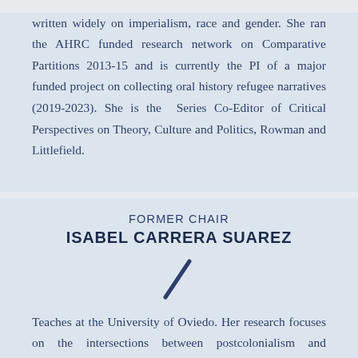written widely on imperialism, race and gender. She ran the AHRC funded research network on Comparative Partitions 2013-15 and is currently the PI of a major funded project on collecting oral history refugee narratives (2019-2023). She is the Series Co-Editor of Critical Perspectives on Theory, Culture and Politics, Rowman and Littlefield.
FORMER CHAIR
ISABEL CARRERA SUAREZ
Teaches at the University of Oviedo. Her research focuses on the intersections between postcolonialism and feminism, with recent work centred on urban writing. She has published widely on postcolonial literatures, particularly Canadian,